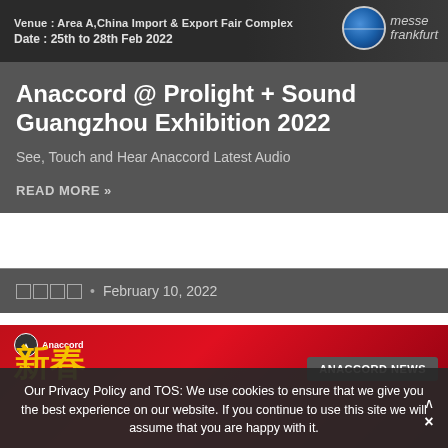[Figure (photo): Banner image with dark background showing venue details: 'Venue: Area A, China Import & Export Fair Complex' and 'Date: 25th to 28th Feb 2022' with Messe Frankfurt logo on the right]
Anaccord @ Prolight + Sound Guangzhou Exhibition 2022
See, Touch and Hear Anaccord Latest Audio
READ MORE »
□□□□ • February 10, 2022
[Figure (photo): Red banner with Anaccord logo, Chinese characters 新春 (New Spring/Chinese New Year), cartoon tiger character, and ANACCORD NEWS tag on the right]
Our Privacy Policy and TOS: We use cookies to ensure that we give you the best experience on our website. If you continue to use this site we will assume that you are happy with it.